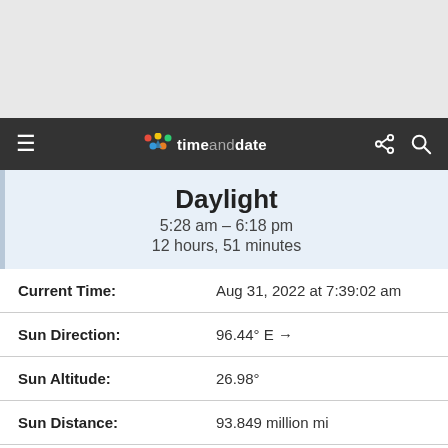timeanddate navigation bar
Daylight
5:28 am – 6:18 pm
12 hours, 51 minutes
| Label | Value |
| --- | --- |
| Current Time: | Aug 31, 2022 at 7:39:02 am |
| Sun Direction: | 96.44° E → |
| Sun Altitude: | 26.98° |
| Sun Distance: | 93.849 million mi |
| Next Equinox: | Sep 23, 2022 9:03 am (Autumnal) |
| Sunrise Today: | 5:28 am → 79° East |